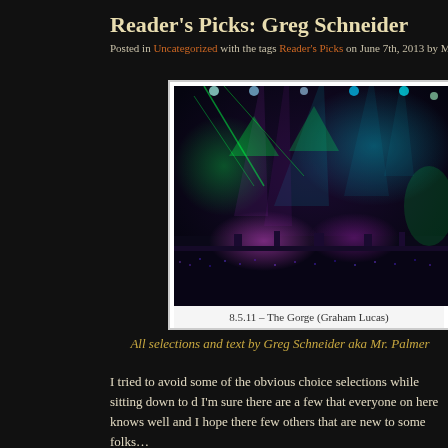Reader's Picks: Greg Schneider
Posted in Uncategorized with the tags Reader's Picks on June 7th, 2013 by Mr.Mine
[Figure (photo): Concert photo showing a stage with colorful lights (green, teal, purple) illuminating performers at The Gorge on 8.5.11, photo by Graham Lucas]
8.5.11 – The Gorge (Graham Lucas)
All selections and text by Greg Schneider aka Mr. Palmer
I tried to avoid some of the obvious choice selections while sitting down to d I'm sure there are a few that everyone on here knows well and I hope there few others that are new to some folks…